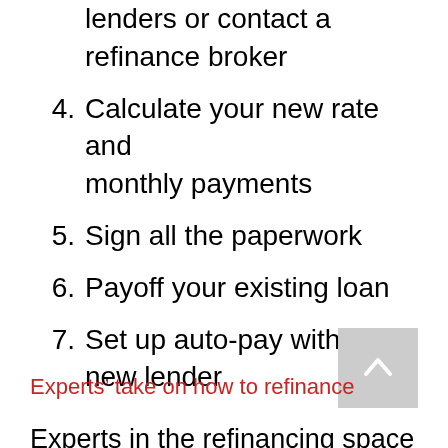lenders or contact a refinance broker
4. Calculate your new rate and monthly payments
5. Sign all the paperwork
6. Payoff your existing loan
7. Set up auto-pay with your new lender
Experts’ take on how to refinance
Experts in the refinancing space